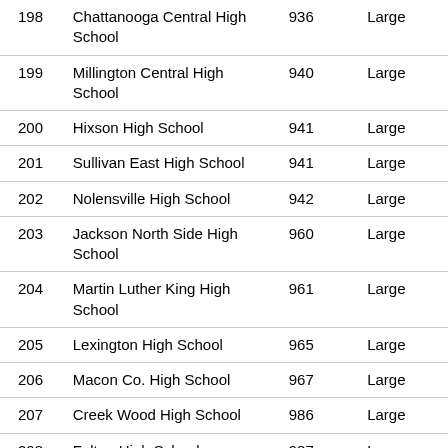| 198 | Chattanooga Central High School | 936 | Large |
| 199 | Millington Central High School | 940 | Large |
| 200 | Hixson High School | 941 | Large |
| 201 | Sullivan East High School | 941 | Large |
| 202 | Nolensville High School | 942 | Large |
| 203 | Jackson North Side High School | 960 | Large |
| 204 | Martin Luther King High School | 961 | Large |
| 205 | Lexington High School | 965 | Large |
| 206 | Macon Co. High School | 967 | Large |
| 207 | Creek Wood High School | 986 | Large |
| 208 | Fulton High School | 987 | Large |
| 209 | Cumberland Co. High School | 1000 | Large |